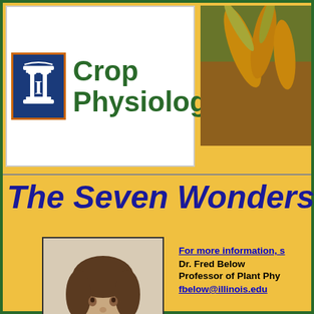[Figure (logo): Crop Physiology course logo with Illinois column icon and green text]
[Figure (photo): Close-up photo of dried corn ears on stalks]
The Seven Wonders of th
[Figure (photo): Portrait photo of Dr. Fred Below wearing a light shirt with Crop Physiology logo]
For more information, s
Dr. Fred Below
Professor of Plant Phy
fbelow@illinois.edu